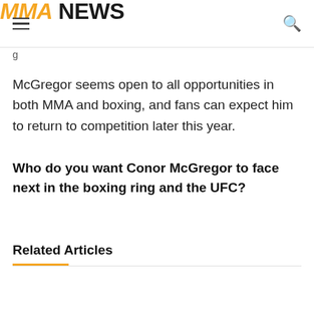MMA NEWS
McGregor seems open to all opportunities in both MMA and boxing, and fans can expect him to return to competition later this year.
Who do you want Conor McGregor to face next in the boxing ring and the UFC?
Related Articles